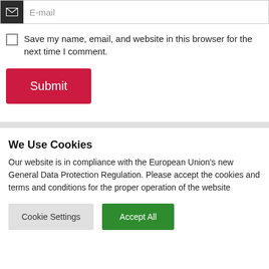[Figure (screenshot): Email input field with envelope icon on dark background and placeholder text 'E-mail']
Save my name, email, and website in this browser for the next time I comment.
[Figure (screenshot): Red Submit button]
We Use Cookies
Our website is in compliance with the European Union's new General Data Protection Regulation. Please accept the cookies and terms and conditions for the proper operation of the website
[Figure (screenshot): Cookie Settings button (grey) and Accept All button (green)]